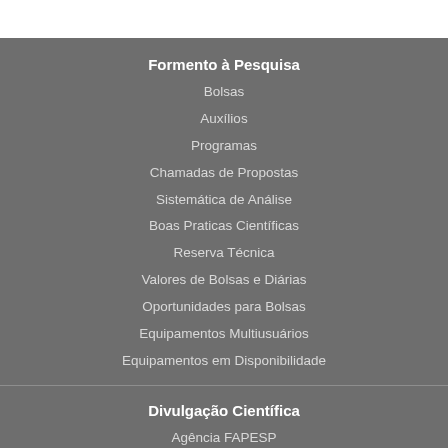Formento à Pesquisa
Bolsas
Auxílios
Programas
Chamadas de Propostas
Sistemática de Análise
Boas Praticas Científicas
Reserva Técnica
Valores de Bolsas e Diárias
Oportunidades para Bolsas
Equipamentos Multiusuários
Equipamentos em Disponibilidade
Divulgação Científica
Agência FAPESP
Biblioteca Virtual
FAPESP Week